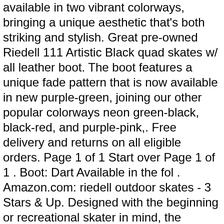available in two vibrant colorways, bringing a unique aesthetic that's both striking and stylish. Great pre-owned Riedell 111 Artistic Black quad skates w/ all leather boot. The boot features a unique fade pattern that is now available in new purple-green, joining our other popular colorways neon green-black, black-red, and purple-pink,. Free delivery and returns on all eligible orders. Page 1 of 1 Start over Page 1 of 1 . Boot: Dart Available in the fol . Amazon.com: riedell outdoor skates - 3 Stars & Up. Designed with the beginning or recreational skater in mind, the Citizen is the perfect skate to enjoy the great outdoors in. Riedell Dart Speed . The Riedell Citizen is designed with beginning & recreational skaters in mind. Riedell Epic Artistic . Copyright © 2020 Red Wing Sports Group, LLC. Last but not least, we offer a number of skating tools and accessories (think footbeds, toe stops, laces and plate cushions), skating bags and apparel. Pair these features with its black bolt-on toe stops and approachable price tag, and it's